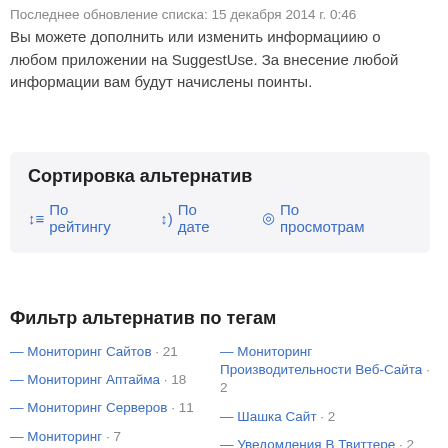Последнее обновление списка: 15 декабря 2014 г. 0:46
Вы можете дополнить или изменить информациию о любом приложении на SuggestUse. За внесение любой информации вам будут начислены поинты.
Сортировка альтернатив
По рейтингу
По дате
По просмотрам
Фильтр альтернатив по тегам
— Мониторинг Сайтов · 21
— Мониторинг Аптайма · 18
— Мониторинг Серверов · 11
— Мониторинг · 7
— Предупреждения · 4
— Мониторинг Сети · 4
— SMS-Уведомление · 3
— Мониторинг Производительности Веб-Сайта · 2
— Шашка Сайт · 2
— Уведомления В Твиттере · 2
— Уведомления · 2
— Пинг · 2